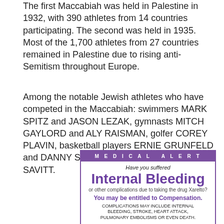The first Maccabiah was held in Palestine in 1932, with 390 athletes from 14 countries participating. The second was held in 1935. Most of the 1,700 athletes from 27 countries remained in Palestine due to rising anti-Semitism throughout Europe.
Among the notable Jewish athletes who have competed in the Maccabiah: swimmers MARK SPITZ and JASON LEZAK, gymnasts MITCH GAYLORD and ALY RAISMAN, golfer COREY PLAVIN, basketball players ERNIE GRUNFELD and DANNY SHAYES and tennis player DICK SAVITT.
[Figure (infographic): Medical Alert advertisement about Internal Bleeding from Xarelto drug. Purple header bar reading MEDICAL ALERT, then italic text 'Have you suffered', large bold purple text 'Internal Bleeding', smaller text 'or other complications due to taking the drug Xarelto?', bold purple text 'You may be entitled to Compensation.', and all-caps warning text about complications including internal bleeding, stroke, heart attack, pulmonary embolisms or even death.]